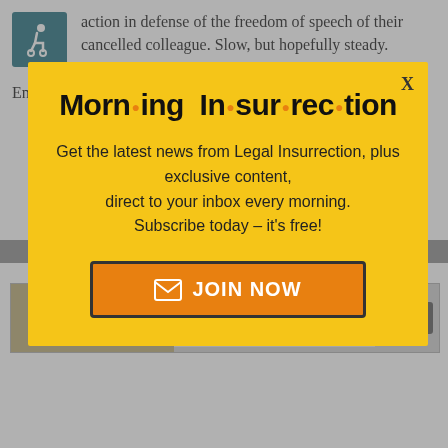action in defense of the freedom of speech of their cancelled colleague. Slow, but hopefully steady.
Emery has never held anything but my
[Figure (infographic): Morning Insurrection newsletter popup modal with yellow background, large bold title 'Morn·ing In·sur·rec·tion', subscription pitch text, and orange JOIN NOW button]
victims included w n't killed with that
[Figure (screenshot): Advertisement banner: Build Nuclear Now - Clean. Secure. Homegrown. with Open button]
neighborhood toughs, and outright